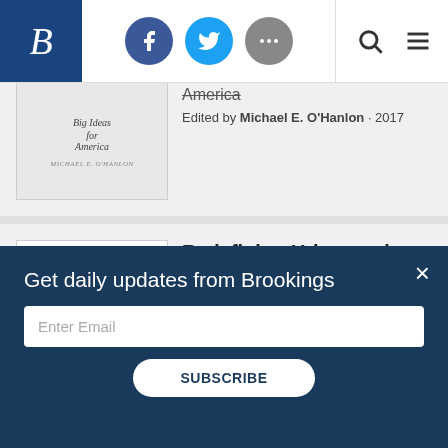[Figure (screenshot): Brookings Institution website header with logo, social media icons (Facebook, Twitter, more), search and menu icons]
[Figure (photo): Book cover: Big Ideas for America, edited by Michael E. O'Hanlon, 2017]
Edited by Michael E. O'Hanlon · 2017
[Figure (photo): Book cover: Redefining Urban and Suburban America, edited by Bruce Katz and Robert E. Lang, 2003]
Redefining Urban and Suburban America
Edited by Bruce Katz and Robert E. Lang · 2003
Get daily updates from Brookings
Enter Email
SUBSCRIBE